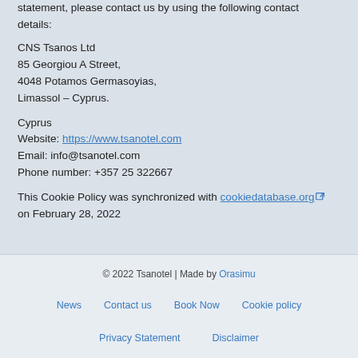statement, please contact us by using the following contact details:
CNS Tsanos Ltd
85 Georgiou A Street,
4048 Potamos Germasoyias,
Limassol – Cyprus.
Cyprus
Website: https://www.tsanotel.com
Email: info@tsanotel.com
Phone number: +357 25 322667
This Cookie Policy was synchronized with cookiedatabase.org on February 28, 2022
© 2022 Tsanotel | Made by Orasimu
News
Contact us
Book Now
Cookie policy
Privacy Statement
Disclaimer